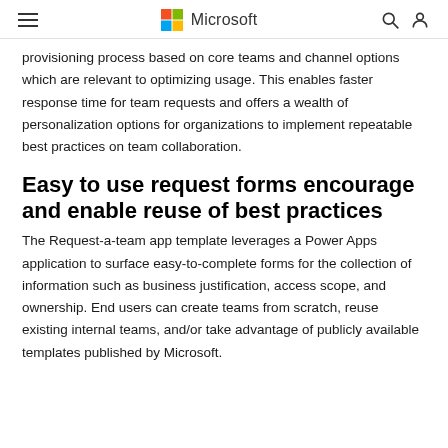Microsoft
provisioning process based on core teams and channel options which are relevant to optimizing usage. This enables faster response time for team requests and offers a wealth of personalization options for organizations to implement repeatable best practices on team collaboration.
Easy to use request forms encourage and enable reuse of best practices
The Request-a-team app template leverages a Power Apps application to surface easy-to-complete forms for the collection of information such as business justification, access scope, and ownership. End users can create teams from scratch, reuse existing internal teams, and/or take advantage of publicly available templates published by Microsoft.